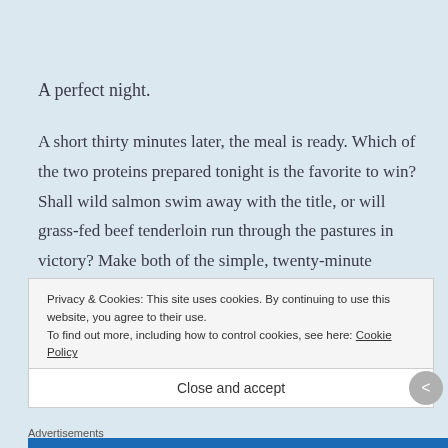A perfect night.
A short thirty minutes later, the meal is ready. Which of the two proteins prepared tonight is the favorite to win? Shall wild salmon swim away with the title, or will grass-fed beef tenderloin run through the pastures in victory? Make both of the simple, twenty-minute recipes and decide which is your favorite.
Privacy & Cookies: This site uses cookies. By continuing to use this website, you agree to their use.
To find out more, including how to control cookies, see here: Cookie Policy
Close and accept
Advertisements